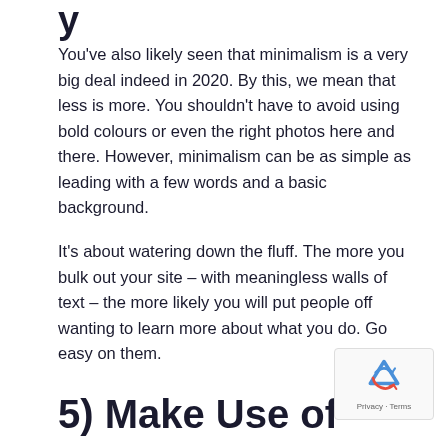y
You've also likely seen that minimalism is a very big deal indeed in 2020. By this, we mean that less is more. You shouldn't have to avoid using bold colours or even the right photos here and there. However, minimalism can be as simple as leading with a few words and a basic background.

It's about watering down the fluff. The more you bulk out your site – with meaningless walls of text – the more likely you will put people off wanting to learn more about what you do. Go easy on them.
5) Make Use of